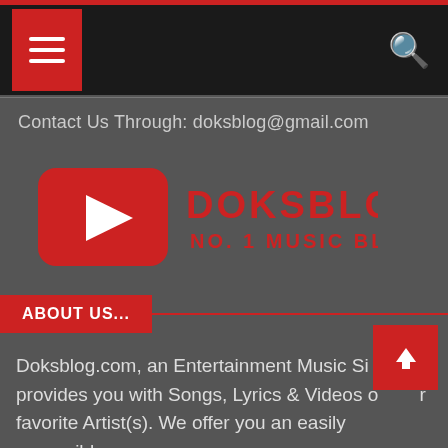Navigation bar with hamburger menu and search icon
Contact Us Through: doksblog@gmail.com
[Figure (logo): Doksblog logo with red YouTube-style play button icon and text DOKSBLOG NO. 1 MUSIC BLOG in red]
ABOUT US...
Doksblog.com, an Entertainment Music Si... provides you with Songs, Lyrics & Videos o... r favorite Artist(s). We offer you an easily accessible platform with wide range of tunes for download. For